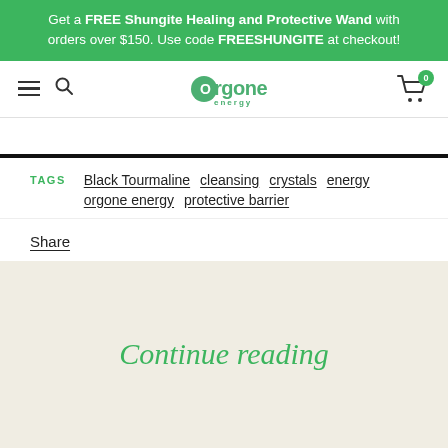Get a FREE Shungite Healing and Protective Wand with orders over $150. Use code FREESHUNGITE at checkout!
[Figure (logo): Orgone Energy logo with green icon and text]
TAGS  Black Tourmaline  cleansing  crystals  energy  orgone energy  protective barrier
Share
Continue reading